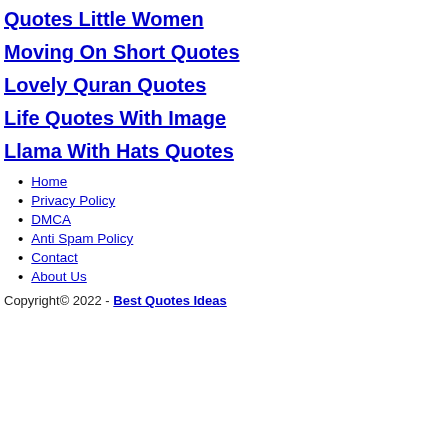Quotes Little Women
Moving On Short Quotes
Lovely Quran Quotes
Life Quotes With Image
Llama With Hats Quotes
Home
Privacy Policy
DMCA
Anti Spam Policy
Contact
About Us
Copyright© 2022 - Best Quotes Ideas